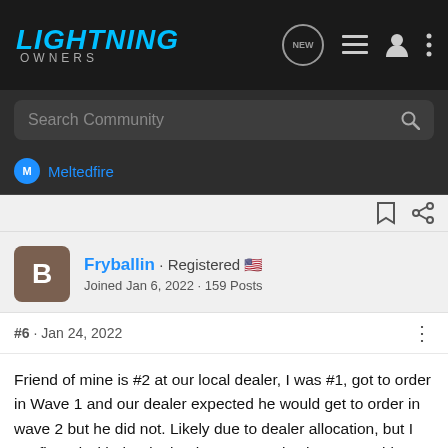LIGHTNING OWNERS
Search Community
Meltedfire
Fryballin · Registered 🇺🇸
Joined Jan 6, 2022 · 159 Posts
#6 · Jan 24, 2022
Friend of mine is #2 at our local dealer, I was #1, got to order in Wave 1 and our dealer expected he would get to order in wave 2 but he did not. Likely due to dealer allocation, but I confirmed with the dealer that no one else here was able to order and he confirmed that the next person that would be ordering is my friend who is #2. Our dealership is not huge compared to big city dealerships, but probably does a lot of business relative to